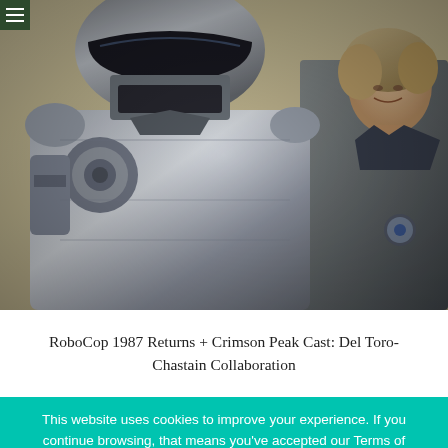≡
[Figure (photo): Movie still from RoboCop 1987: armored RoboCop figure in silver suit facing a person in a police uniform on a beige/cream background.]
RoboCop 1987 Returns + Crimson Peak Cast: Del Toro-Chastain Collaboration
This website uses cookies to improve your experience. If you continue browsing, that means you've accepted our Terms of Use/use of cookies. You may also click on the Accept button on the right to make this disappear.
Accept
Read More